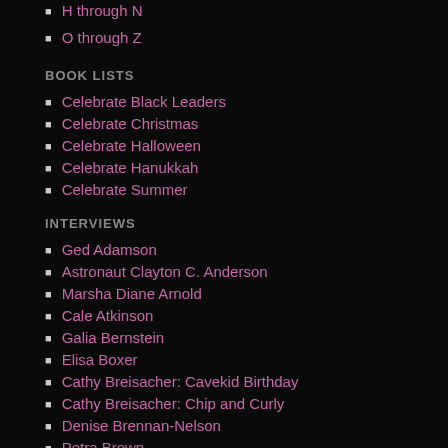H through N
O through Z
BOOK LISTS
Celebrate Black Leaders
Celebrate Christmas
Celebrate Halloween
Celebrate Hanukkah
Celebrate Summer
INTERVIEWS
Ged Adamson
Astronaut Clayton C. Anderson
Marsha Diane Arnold
Cale Atkinson
Galia Bernstein
Elisa Boxer
Cathy Breisacher: Cavekid Birthday
Cathy Breisacher: Chip and Curly
Denise Brennan-Nelson
Petra Brown
Scott Brundage